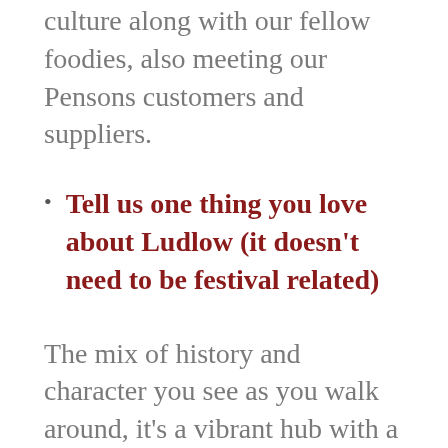culture along with our fellow foodies, also meeting our Pensons customers and suppliers.
Tell us one thing you love about Ludlow (it doesn't need to be festival related)
The mix of history and character you see as you walk around, it's a vibrant hub with a great